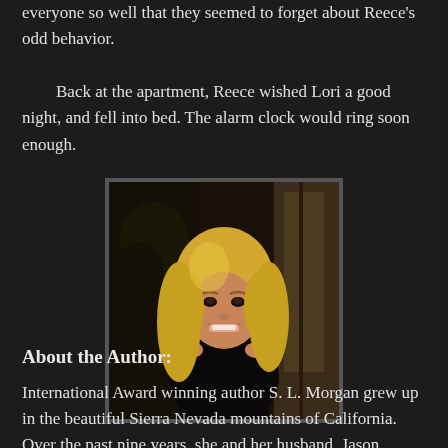everyone so well that they seemed to forget about Reece's odd behavior.

	Back at the apartment, Reece wished Lori a good night, and fell into bed. The alarm clock would ring soon enough.
[Figure (photo): Author photo: blonde woman smiling, wearing black, photographed indoors near a window with plants in background]
About the Author:
International Award winning author S. L. Morgan grew up in the beautiful Sierra Nevada mountains of California. Over the past nine years, she and her husband, Jason Morgan, their three kids moved throughout the United States. Recently, S.L. Morgan was blessed to move back to her home state of California.